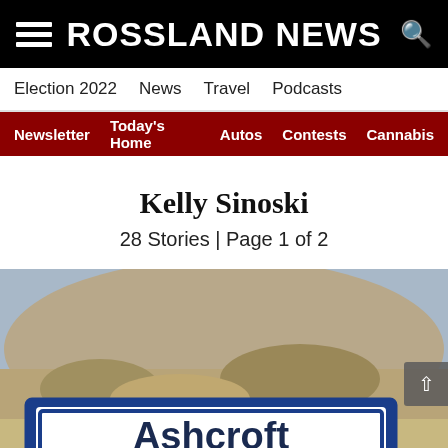ROSSLAND NEWS
Election 2022  News  Travel  Podcasts
Newsletter  Today's Home  Autos  Contests  Cannabis
Kelly Sinoski
28 Stories | Page 1 of 2
[Figure (photo): Photo of a blue-bordered sign reading 'Ashcroft Emergency' against a rocky desert background]